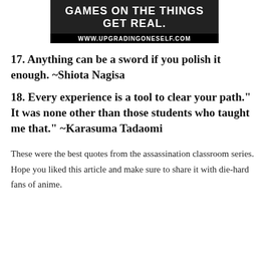[Figure (screenshot): Banner image with text 'GAMES ON THE THINGS GET REAL.' and URL 'WWW.UPGRADINGONESELF.COM' on dark background]
17. Anything can be a sword if you polish it enough. ~Shiota Nagisa
18. Every experience is a tool to clear your path." It was none other than those students who taught me that." ~Karasuma Tadaomi
These were the best quotes from the assassination classroom series. Hope you liked this article and make sure to share it with die-hard fans of anime.